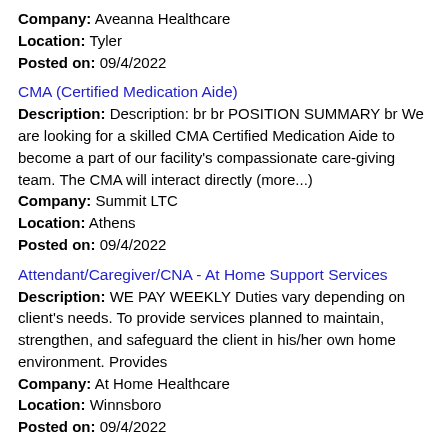Company: Aveanna Healthcare
Location: Tyler
Posted on: 09/4/2022
CMA (Certified Medication Aide)
Description: Description: br br POSITION SUMMARY br We are looking for a skilled CMA Certified Medication Aide to become a part of our facility's compassionate care-giving team. The CMA will interact directly (more...)
Company: Summit LTC
Location: Athens
Posted on: 09/4/2022
Attendant/Caregiver/CNA - At Home Support Services
Description: WE PAY WEEKLY Duties vary depending on client's needs. To provide services planned to maintain, strengthen, and safeguard the client in his/her own home environment. Provides
Company: At Home Healthcare
Location: Winnsboro
Posted on: 09/4/2022
LPN : Make your own schedule and get paid next day! Up to $29
Description: Work WHEN and WHERE You Want----- for the PAY